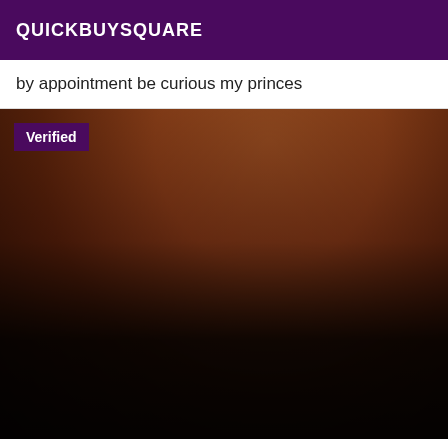QUICKBUYSQUARE
by appointment be curious my princes
[Figure (photo): Photo with a 'Verified' badge overlay in the top-left corner]